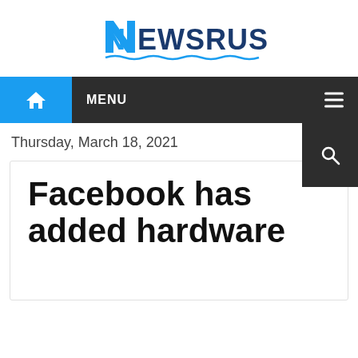[Figure (logo): NewsRust logo with stylized N and wave underline in blue and dark navy text]
MENU
Thursday, March 18, 2021
Facebook has added hardware